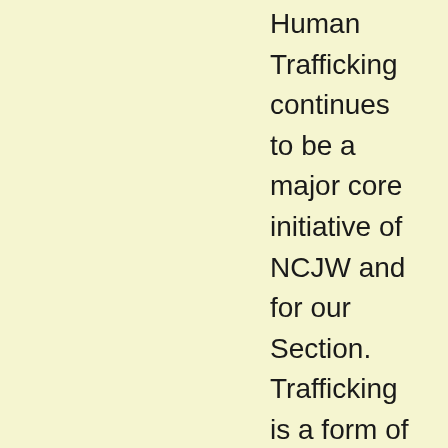Human Trafficking continues to be a major core initiative of NCJW and for our Section. Trafficking is a form of modern day slavery and impacts all races, genders, ages, ethnicity, and socio-economic status. It involves the use of force, fraud, abduction, sexual exploitation, or coercion to obtain some type of labor or commercial sex act. The Polaris Project, a nonprofit agency whose purpose is to combat human trafficking, states that “human trafficking is the fastest growing and 3rd largest organized criminal activity behind only drug and arms trade.” According to the International Labor Organization, it is a multi-billion dollar industry